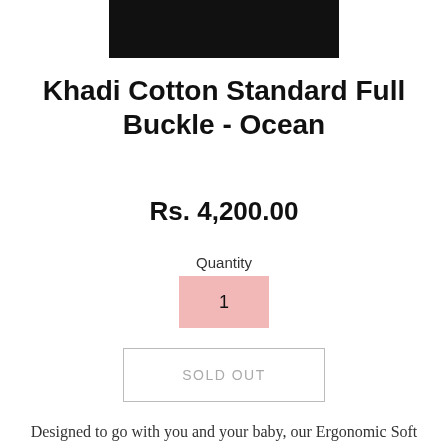[Figure (photo): Top portion of a product image showing a dark/black background area, partially cut off at top of page]
Khadi Cotton Standard Full Buckle - Ocean
Rs. 4,200.00
Quantity
1
SOLD OUT
Designed to go with you and your baby, our Ergonomic Soft Structured Carrier is ideal for kiddos ranging from 7